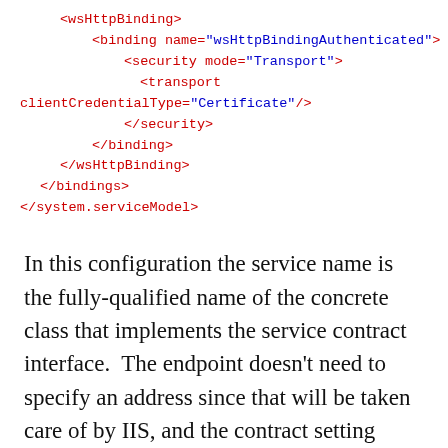<wsHttpBinding>
  <binding name="wsHttpBindingAuthenticated">
    <security mode="Transport">
      <transport clientCredentialType="Certificate"/>
    </security>
  </binding>
</wsHttpBinding>
</bindings>
</system.serviceModel>
In this configuration the service name is the fully-qualified name of the concrete class that implements the service contract interface.  The endpoint doesn't need to specify an address since that will be taken care of by IIS, and the contract setting refers to the fully-qualified name of the contract interface just as in the